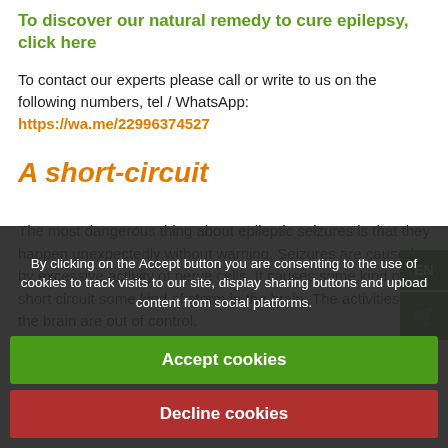To discover our natural remedy to cure epilepsy, click here
To contact our experts please call or write to us on the following numbers, tel / WhatsApp: https://wa.me/22996374527
A short-circuit
The most dangerous thing about epileptic seizures is that they happen unexpectedly without warning. Seizures are caused by excessive activity of nerve cells. It causes some kind of short circuit some kind of storm in the brain. The activities of the brain are out of control.
Doctors treat patients with epilepsy with anti-epileptic drugs. Depending on the severity of the disease, despite this appropriate treatment, seizures may still occur. In such cases, patients cannot be all and... Patients cannot not remember them later after they recover.
diseases. According to WHO estimates, more than 50 million people
By clicking on the Accept button you are consenting to the use of cookies to track visits to our site, display sharing buttons and upload content from social platforms.
Accept cookies
Decline cookies